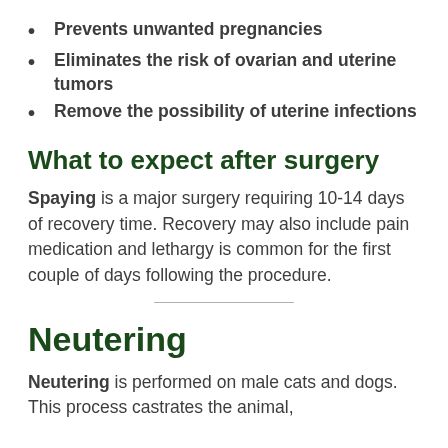Prevents unwanted pregnancies
Eliminates the risk of ovarian and uterine tumors
Remove the possibility of uterine infections
What to expect after surgery
Spaying is a major surgery requiring 10-14 days of recovery time. Recovery may also include pain medication and lethargy is common for the first couple of days following the procedure.
Neutering
Neutering is performed on male cats and dogs. This process castrates the animal,